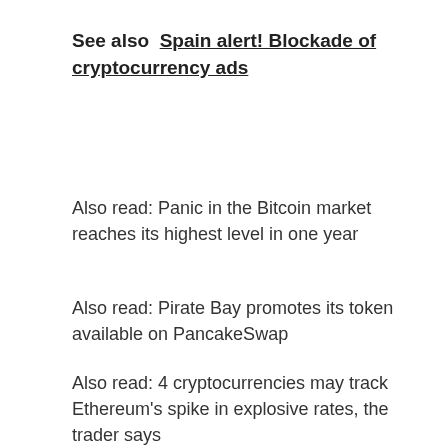See also  Spain alert! Blockade of cryptocurrency ads
Also read: Panic in the Bitcoin market reaches its highest level in one year
Also read: Pirate Bay promotes its token available on PancakeSwap
Also read: 4 cryptocurrencies may track Ethereum's spike in explosive rates, the trader says
[Figure (other): A white box/container area with an orange back-to-top arrow button in the bottom right corner]